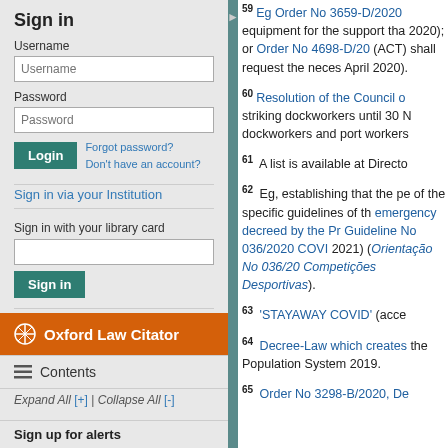Sign in
Username
Password
Forgot password? Don't have an account?
Sign in via your Institution
Sign in with your library card
[Figure (logo): Oxford Law Citator logo bar with compass icon]
Contents
Expand All [+] | Collapse All [-]
Sign up for alerts
59 Eg Order No 3659-D/2020 equipment for the support tha 2020); or Order No 4698-D/20 (ACT) shall request the neces April 2020).
60 Resolution of the Council o striking dockworkers until 30 N dockworkers and port workers
61 A list is available at Directo
62 Eg, establishing that the pe of the specific guidelines of th emergency decreed by the Pr Guideline No 036/2020 COVI 2021) (Orientação No 036/20 Competições Desportivas).
63 'STAYAWAY COVID' (acce
64 Decree-Law which creates the Population System 2019.
65 Order No 3298-B/2020, De